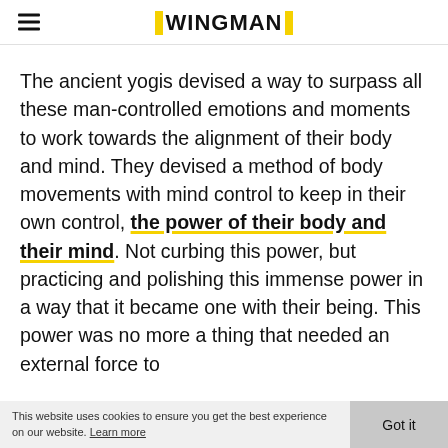WINGMAN
The ancient yogis devised a way to surpass all these man-controlled emotions and moments to work towards the alignment of their body and mind. They devised a method of body movements with mind control to keep in their own control, the power of their body and their mind. Not curbing this power, but practicing and polishing this immense power in a way that it became one with their being. This power was no more a thing that needed an external force to
This website uses cookies to ensure you get the best experience on our website. Learn more  Got it